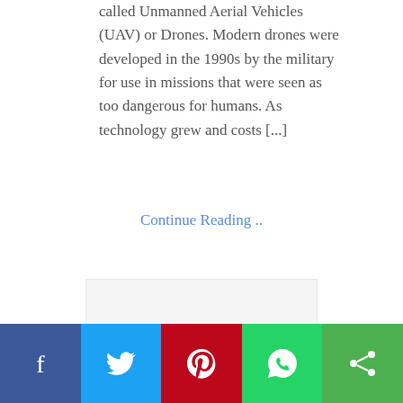called Unmanned Aerial Vehicles (UAV) or Drones. Modern drones were developed in the 1990s by the military for use in missions that were seen as too dangerous for humans. As technology grew and costs [...]
Continue Reading ..
[Figure (other): Social sharing bar with Facebook, Twitter, Pinterest, WhatsApp, and share icons]